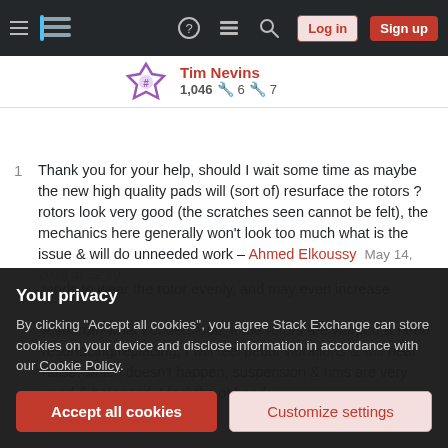Stack Exchange navigation bar with hamburger, logo, help, chat, search icons, Log in and Sign up buttons
Tim Nevins 1,046 silver:6 bronze:7
1  Thank you for your help, should I wait some time as maybe the new high quality pads will (sort of) resurface the rotors ? rotors look very good (the scratches seen cannot be felt), the mechanics here generally won't look too much what is the issue & will do unneeded work – Ahmed Elkoussy  May 14, 2018 at 22:10
Also from what I understood, if the rotors are warped & need resurfacing/replacing, I will feel pedal vibrations & will hear noise, which doesn't happen, suspension & rims are very good & balanced. I feel the old pads
Your privacy
By clicking "Accept all cookies", you agree Stack Exchange can store cookies on your device and disclose information in accordance with our Cookie Policy.
Accept all cookies   Customize settings
tends to wear the rotor evenly, and may even increase